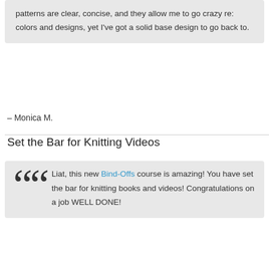patterns are clear, concise, and they allow me to go crazy re: colors and designs, yet I've got a solid base design to go back to.
– Monica M.
Set the Bar for Knitting Videos
Liat, this new Bind-Offs course is amazing! You have set the bar for knitting books and videos! Congratulations on a job WELL DONE!